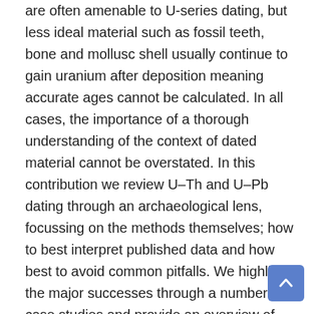are often amenable to U-series dating, but less ideal material such as fossil teeth, bone and mollusc shell usually continue to gain uranium after deposition meaning accurate ages cannot be calculated. In all cases, the importance of a thorough understanding of the context of dated material cannot be overstated. In this contribution we review U–Th and U–Pb dating through an archaeological lens, focussing on the methods themselves; how to best interpret published data and how best to avoid common pitfalls. We highlight the major successes through a number of case studies and provide an overview of what we believe to be the future directions of this field.
Method 1 : Shortcode : Add the shortcode [